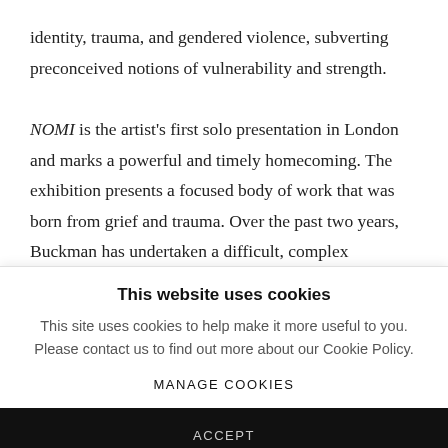identity, trauma, and gendered violence, subverting preconceived notions of vulnerability and strength.
NOMI is the artist's first solo presentation in London and marks a powerful and timely homecoming. The exhibition presents a focused body of work that was born from grief and trauma. Over the past two years, Buckman has undertaken a difficult, complex
This website uses cookies
This site uses cookies to help make it more useful to you. Please contact us to find out more about our Cookie Policy.
MANAGE COOKIES
ACCEPT